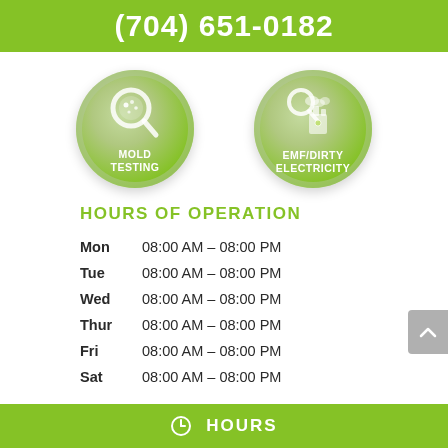(704) 651-0182
[Figure (illustration): Two circular green buttons: one with a magnifying glass over mold spores labeled 'MOLD TESTING', another with a magnifying glass and industrial tower labeled 'EMF/DIRTY ELECTRICITY']
HOURS OF OPERATION
Mon   08:00 AM - 08:00 PM
Tue   08:00 AM - 08:00 PM
Wed   08:00 AM - 08:00 PM
Thur  08:00 AM - 08:00 PM
Fri   08:00 AM - 08:00 PM
Sat   08:00 AM - 08:00 PM
HOURS